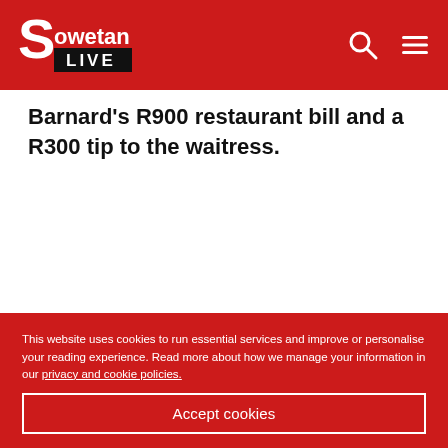Sowetan LIVE
Barnard's R900 restaurant bill and a R300 tip to the waitress.
This website uses cookies to run essential services and improve or personalise your reading experience. Read more about how we manage your information in our privacy and cookie policies.
Accept cookies